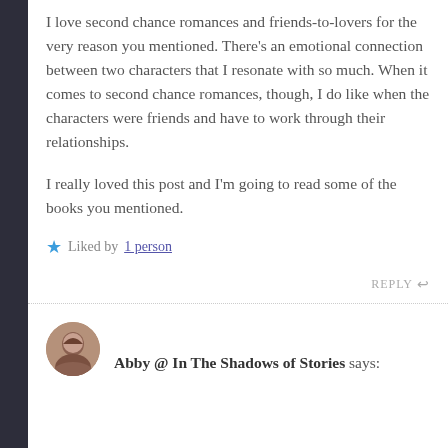I love second chance romances and friends-to-lovers for the very reason you mentioned. There's an emotional connection between two characters that I resonate with so much. When it comes to second chance romances, though, I do like when the characters were friends and have to work through their relationships.
I really loved this post and I'm going to read some of the books you mentioned.
Liked by 1 person
REPLY
Abby @ In The Shadows of Stories says: